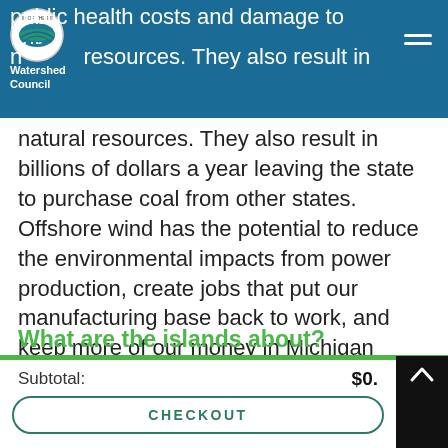Watershed Council
public health costs and damage to our natural resources. They also result in billions of dollars a year leaving the state to purchase coal from other states. Offshore wind has the potential to reduce the environmental impacts from power production, create jobs that put our manufacturing base back to work, and keep more of our money in Michigan rather than buying coal from others.
What are the islands about?
Subtotal:
$0.
CHECKOUT